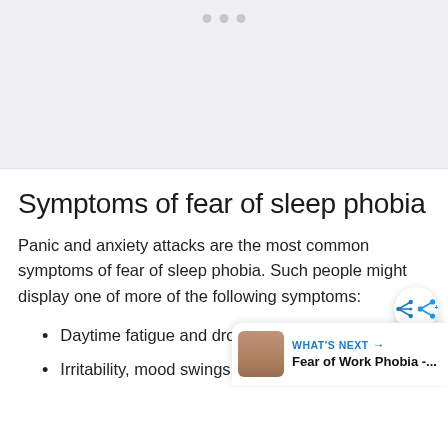[Figure (photo): Gray placeholder image area at top of page with three navigation dots]
Symptoms of fear of sleep phobia
Panic and anxiety attacks are the most common symptoms of fear of sleep phobia. Such people might display one of more of the following symptoms:
Daytime fatigue and drowsiness
Irritability, mood swings